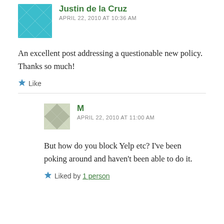[Figure (illustration): Teal/blue geometric patterned avatar for Justin de la Cruz]
Justin de la Cruz
APRIL 22, 2010 AT 10:36 AM
An excellent post addressing a questionable new policy. Thanks so much!
Like
[Figure (illustration): Light gray/green geometric patterned avatar for M]
M
APRIL 22, 2010 AT 11:00 AM
But how do you block Yelp etc? I’ve been poking around and haven’t been able to do it.
Liked by 1 person